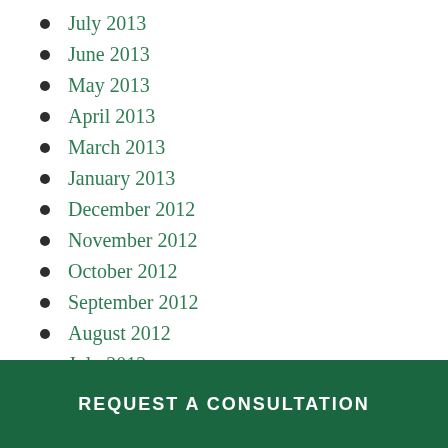July 2013
June 2013
May 2013
April 2013
March 2013
January 2013
December 2012
November 2012
October 2012
September 2012
August 2012
July 2012
June 2012
REQUEST A CONSULTATION